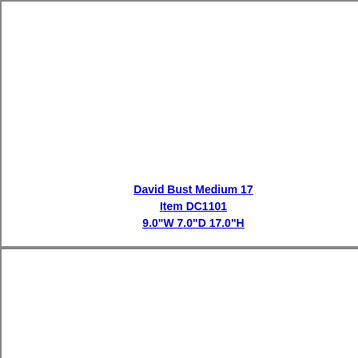David Bust Medium 17
Item DC1101
9.0"W 7.0"D 17.0"H
David By Donatello 11 H
Item 220904
4.0"W 4.0"D 11.0"H
David Michelangelo 25
Item 100082
11.0"W 7.0"D 25.0"H
David Lg. 20
Item 221103
6.0"W 6.0"D 20.0"H